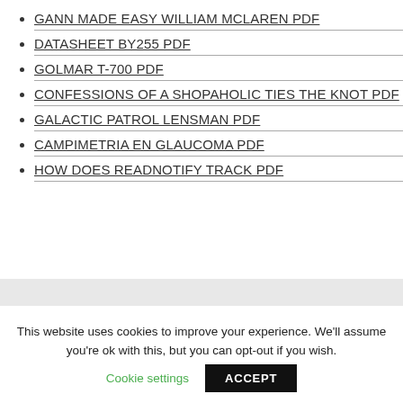GANN MADE EASY WILLIAM MCLAREN PDF
DATASHEET BY255 PDF
GOLMAR T-700 PDF
CONFESSIONS OF A SHOPAHOLIC TIES THE KNOT PDF
GALACTIC PATROL LENSMAN PDF
CAMPIMETRIA EN GLAUCOMA PDF
HOW DOES READNOTIFY TRACK PDF
This website uses cookies to improve your experience. We'll assume you're ok with this, but you can opt-out if you wish.
Cookie settings
ACCEPT